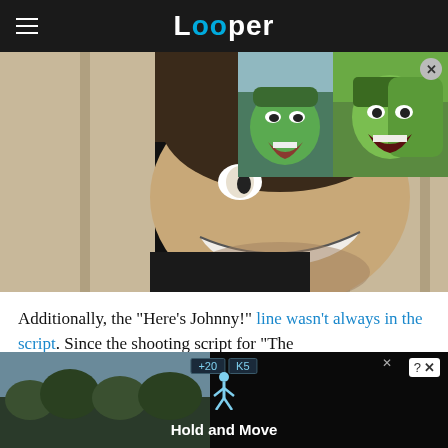Looper
[Figure (photo): Main image showing a man peeking through a cracked door (The Shining reference), with a thumbnail overlay of the Hulk and a green-painted woman with a play button.]
Additionally, the "Here's Johnny!" line wasn't always in the script. Since the shooting script for "The
[Figure (screenshot): Advertisement bar at the bottom showing a dark background with a person walking, score boxes showing '+20' and 'K5', a game controller icon, question mark and X icons, and 'Hold and Move' text label.]